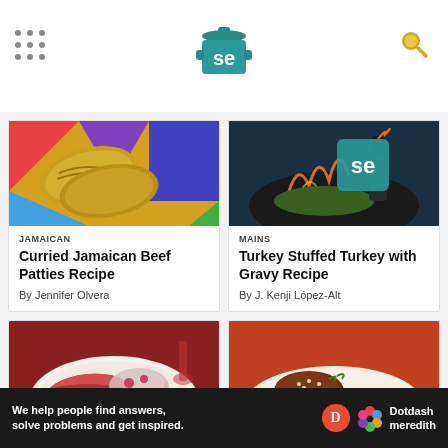[Figure (logo): Serious Eats logo - teal pot with SE letters]
[Figure (photo): Curried Jamaican Beef Patties on colorful background]
JAMAICAN
Curried Jamaican Beef Patties Recipe
By Jennifer Olvera
[Figure (photo): Turkey being cooked in wok with SE logo overlay]
MAINS
Turkey Stuffed Turkey with Gravy Recipe
By J. Kenji López-Alt
[Figure (photo): Pork dish with salad on white plate]
[Figure (photo): Pasta dish with braised meat and sauce]
We help people find answers, solve problems and get inspired.
[Figure (logo): Dotdash Meredith logo]